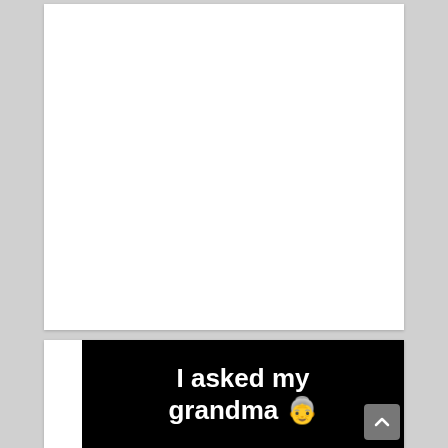[Figure (other): Large white blank card/content area at the top of the page]
[Figure (other): Black image with white bold text reading 'I asked my grandma' followed by a grandma emoji, partially visible at bottom of page]